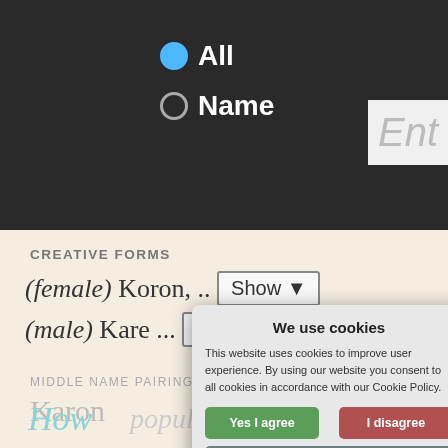[Figure (screenshot): Dark header with radio buttons for 'All' and 'Name' search options, with a text input box partially visible on the right]
CREATIVE FORMS
(female) Koron, ..  Show ▼
(male) Kare ...  Show ▼
MIDDLE NAME PAIRINGS
Karon
How popular is Karon?
[Figure (screenshot): Cookie consent dialog overlay with title 'We use cookies', descriptive text, 'Yes I agree' (green), 'I disagree' (red), 'Read more' (grey) buttons, and 'Free cookie consent by cookie-script.com' footer]